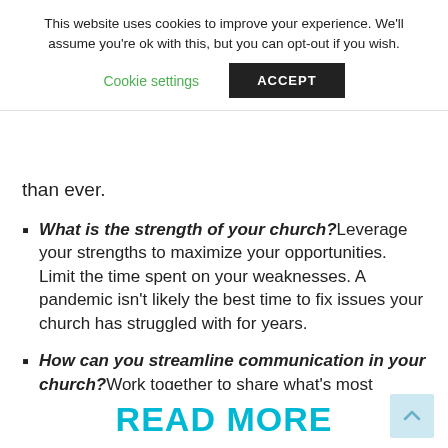This website uses cookies to improve your experience. We'll assume you're ok with this, but you can opt-out if you wish.
Cookie settings   ACCEPT
than ever.
What is the strength of your church? Leverage your strengths to maximize your opportunities. Limit the time spent on your weaknesses. A pandemic isn't likely the best time to fix issues your church has struggled with for years.
How can you streamline communication in your church? Work together to share what's most important each week, considering both the quantity and quality of the message. Collaboration is a key component in streamlining content!
READ MORE